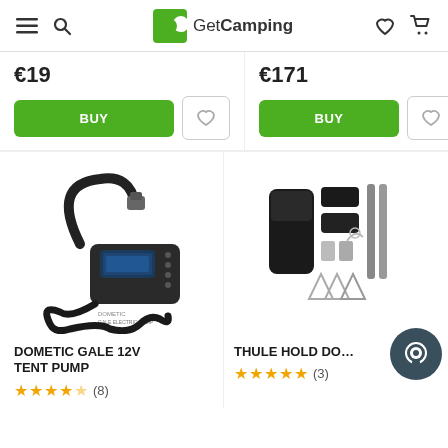GetCamping
€19
€171
[Figure (photo): Dometic Gale 12V electric tent pump with black hose and digital display]
DOMETIC GALE 12V TENT PUMP
★★★★☆ (8)
[Figure (photo): Thule Hold Down accessory kit with straps, rods, and hardware]
THULE HOLD DO…
★★★★★ (3)